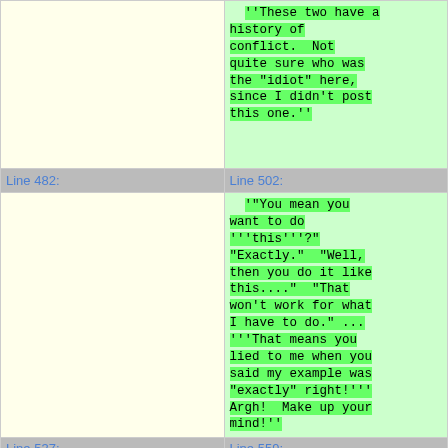| (empty) | (added text) |
| --- | --- |
|  | ''These two have a history of conflict.  Not quite sure who was the "idiot" here, since I didn't post this one.'' |
| Line 482: | Line 502: |
|  | ''“You mean you want to do '''this'''?" "Exactly."  "Well, then you do it like this...."  "That won't work for what I have to do." ... '''That means you lied to me when you said my example was "exactly" right!''' Argh!  Make up your mind!'' |
| Line 537: | Line 559: |